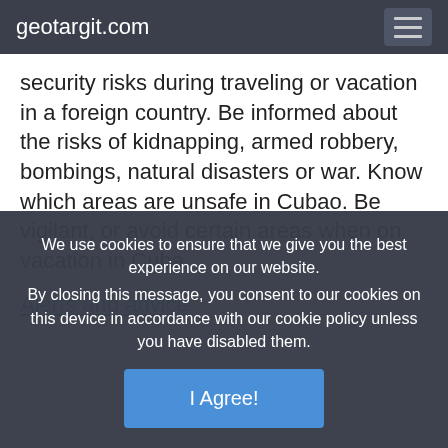geotargit.com
security risks during traveling or vacation in a foreign country. Be informed about the risks of kidnapping, armed robbery, bombings, natural disasters or war. Know which areas are unsafe in Cubao. Be vigilant, or avoid certain areas when on vacation in Cuba.
Alerts and advice
We use cookies to ensure that we give you the best experience on our website. By closing this message, you consent to our cookies on this device in accordance with our cookie policy unless you have disabled them.
I Agree!